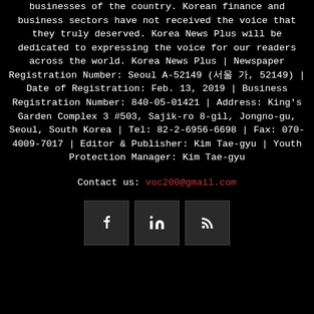businesses of the country. Korean finance and business sectors have not received the voice that they truly deserved. Korea News Plus will be dedicated to expressing the voice for our readers across the world. Korea News Plus | Newspaper Registration Number: Seoul A-52149 (서울 가, 52149) | Date of Registration: Feb. 13, 2019 | Business Registration Number: 840-05-01421 | Address: King's Garden Complex 3 #503, Sajik-ro 8-gil, Jongno-gu, Seoul, South Korea | Tel: 82-2-6956-6698 | Fax: 070-4009-7017 | Editor & Publisher: Kim Tae-gyu | Youth Protection Manager: Kim Tae-gyu
Contact us: voc200@gmail.com
[Figure (other): Social media icons: Facebook (f), LinkedIn (in), RSS feed]